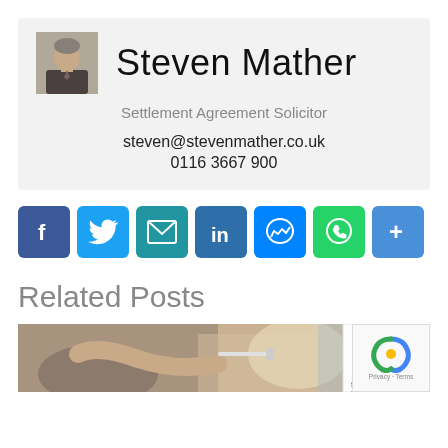[Figure (photo): Headshot photo of Steven Mather, a middle-aged man in a suit]
Steven Mather
Settlement Agreement Solicitor
steven@stevenmather.co.uk
0116 3667 900
[Figure (infographic): Social sharing buttons: Facebook, Twitter, Email, LinkedIn, Messenger, WhatsApp, More (+)]
Related Posts
[Figure (photo): Photo showing a person receiving an injection/vaccination, with Steven Mather Solicitor logo overlay and reCAPTCHA overlay in the corner]